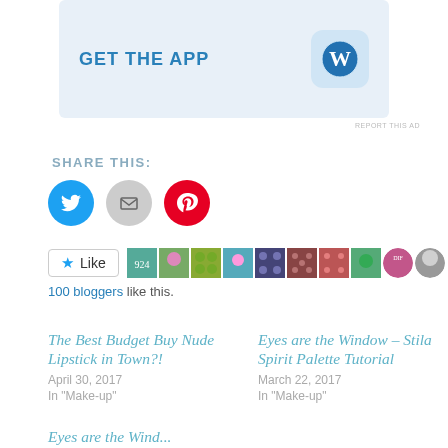[Figure (screenshot): WordPress app advertisement banner with 'GET THE APP' text and WordPress logo icon]
REPORT THIS AD
SHARE THIS:
[Figure (infographic): Social sharing icons: Twitter (blue circle), Email (gray circle), Pinterest (red circle)]
[Figure (infographic): Like button with star and 10 blogger avatar thumbnails]
100 bloggers like this.
The Best Budget Buy Nude Lipstick in Town?!
April 30, 2017
In "Make-up"
Eyes are the Window – Stila Spirit Palette Tutorial
March 22, 2017
In "Make-up"